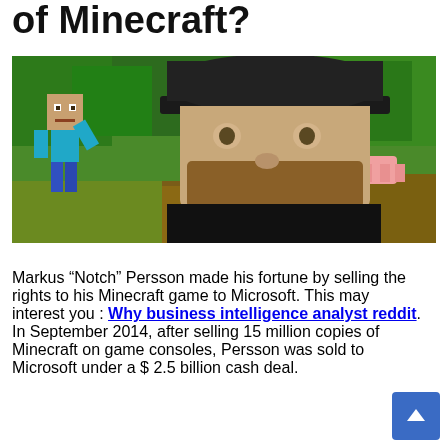of Minecraft?
[Figure (photo): Photo of Markus 'Notch' Persson wearing a black hat against a Minecraft-themed background with a Minecraft character (Steve) visible to the left and a pig in the background]
Markus “Notch” Persson made his fortune by selling the rights to his Minecraft game to Microsoft. This may interest you : Why business intelligence analyst reddit. In September 2014, after selling 15 million copies of Minecraft on game consoles, Persson was sold to Microsoft under a $ 2.5 billion cash deal.